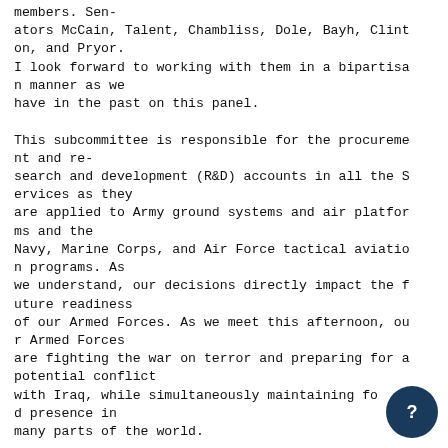members. Senators McCain, Talent, Chambliss, Dole, Bayh, Clinton, and Pryor.
I look forward to working with them in a bipartisan manner as we
have in the past on this panel.

This subcommittee is responsible for the procurement and research and development (R&D) accounts in all the Services as they
are applied to Army ground systems and air platforms and the
Navy, Marine Corps, and Air Force tactical aviation programs. As
we understand, our decisions directly impact the future readiness
of our Armed Forces. As we meet this afternoon, our Armed Forces
are fighting the war on terror and preparing for a potential conflict
with Iraq, while simultaneously maintaining forward presence in
many parts of the world.